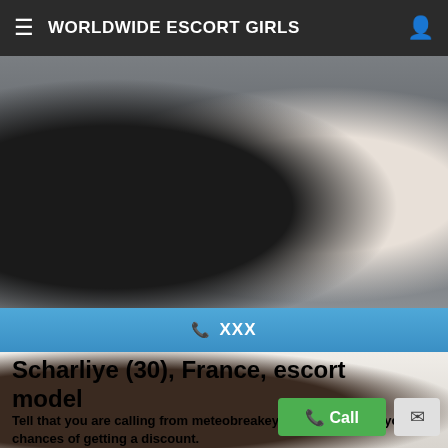WORLDWIDE ESCORT GIRLS
[Figure (photo): Two women photographed from torso down, one in black top and denim shorts, one in white top and black shorts]
☎ XXX
Scharliye (30), France, escort model
Tell that you are calling from meteobreakey.com to increase your chances of getting a discount.